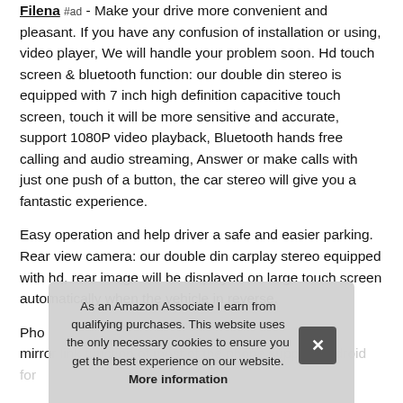Filena #ad - Make your drive more convenient and pleasant. If you have any confusion of installation or using, video player, We will handle your problem soon. Hd touch screen & bluetooth function: our double din stereo is equipped with 7 inch high definition capacitive touch screen, touch it will be more sensitive and accurate, support 1080P video playback, Bluetooth hands free calling and audio streaming, Answer or make calls with just one push of a button, the car stereo will give you a fantastic experience.
Easy operation and help driver a safe and easier parking. Rear view camera: our double din carplay stereo equipped with hd, rear image will be displayed on large touch screen automatically when the vehicle in reverse.
Pho... mirror link function of most of the phone support Android for...
As an Amazon Associate I earn from qualifying purchases. This website uses the only necessary cookies to ensure you get the best experience on our website. More information